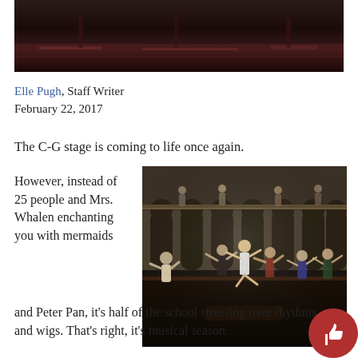[Figure (photo): Top banner photo of an empty or dimly lit theater stage with dark reflective floors]
Elle Pugh, Staff Writer
February 22, 2017
The C-G stage is coming to life once again.
[Figure (photo): Color photo of performers dancing on a theater stage with an elaborate arched set backdrop; many cast members in motion during a rehearsal or performance]
However, instead of 25 people and Mrs. Whalen enchanting you with mermaids and Peter Pan, it's half of the school stressing over rhythms and wigs. That's right, it's musical season.